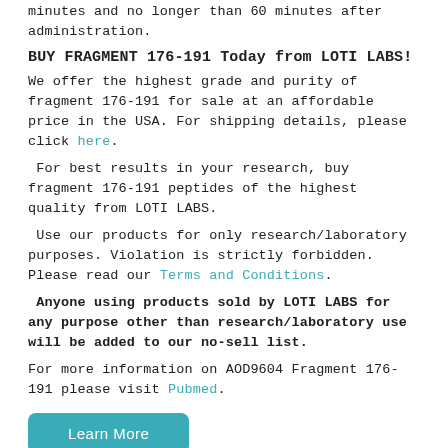minutes and no longer than 60 minutes after administration.
BUY FRAGMENT 176-191 Today from LOTI LABS!
We offer the highest grade and purity of fragment 176-191 for sale at an affordable price in the USA. For shipping details, please click here.
For best results in your research, buy fragment 176-191 peptides of the highest quality from LOTI LABS.
Use our products for only research/laboratory purposes. Violation is strictly forbidden. Please read our Terms and Conditions.
Anyone using products sold by LOTI LABS for any purpose other than research/laboratory use will be added to our no-sell list.
For more information on AOD9604 Fragment 176-191 please visit Pubmed.
Learn More